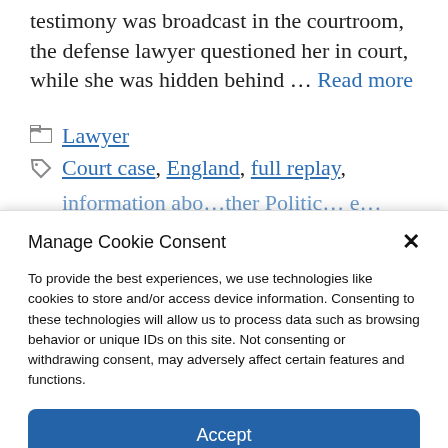testimony was broadcast in the courtroom, the defense lawyer questioned her in court, while she was hidden behind ... Read more
Lawyer
Court case, England, full replay,
[partially visible tags line]
Manage Cookie Consent
To provide the best experiences, we use technologies like cookies to store and/or access device information. Consenting to these technologies will allow us to process data such as browsing behavior or unique IDs on this site. Not consenting or withdrawing consent, may adversely affect certain features and functions.
Accept
Cookie Policy